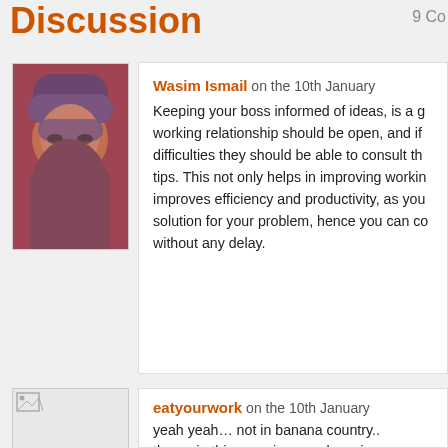Discussion
9 Co
[Figure (photo): Avatar photo of Wasim Ismail, a man wearing a beanie and glasses, reddish background]
Wasim Ismail on the 10th January
Keeping your boss informed of ideas, is a g... working relationship should be open, and if... difficulties they should be able to consult the... tips. This not only helps in improving workin... improves efficiency and productivity, as you... solution for your problem, hence you can co... without any delay.
[Figure (photo): Small placeholder avatar image for eatyourwork user]
eatyourwork on the 10th January
yeah yeah… not in banana country..
the main thing can impress boss is: working...
morcu 🙂